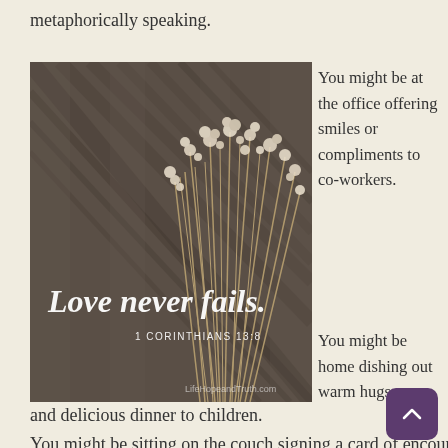metaphorically speaking.
[Figure (photo): A square inspirational image with a dark wood-grain background and dried white flowers (statice/baby's breath). White script text reads 'Love never fails.' with '1 CORINTHIANS 13:8' below. Watermark reads 'LifeHopeandTruth.com']
You might be at the office offering smiles or compliments to co-workers.
You might be home dishing out warm hugs and delicious dinner to children.
You might be sitting on the couch signing a card of encouragement to a struggling friend.